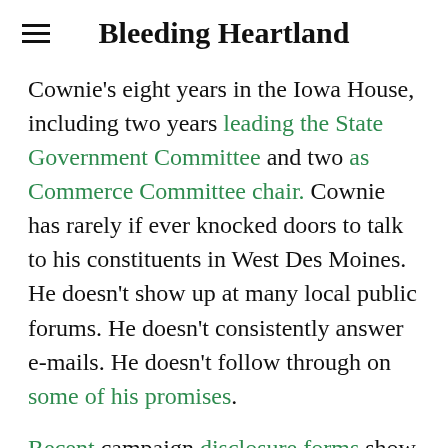Bleeding Heartland
Cownie’s eight years in the Iowa House, including two years leading the State Government Committee and two as Commerce Committee chair. Cownie has rarely if ever knocked doors to talk to his constituents in West Des Moines. He doesn’t show up at many local public forums. He doesn’t consistently answer e-mails. He doesn’t follow through on some of his promises.
Recent campaign disclosure forms show